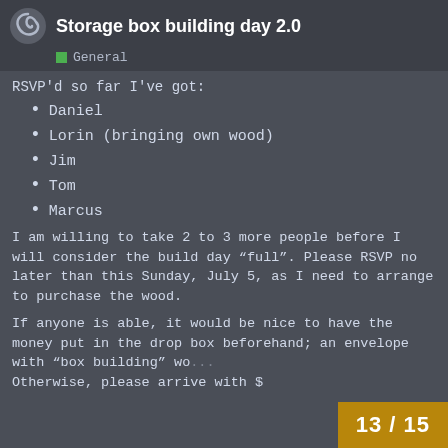Storage box building day 2.0 — General
RSVP'd so far I've got:
Daniel
Lorin (bringing own wood)
Jim
Tom
Marcus
I am willing to take 2 to 3 more people before I will consider the build day “full”. Please RSVP no later than this Sunday, July 5, as I need to arrange to purchase the wood.
If anyone is able, it would be nice to have the money put in the drop box beforehand; an envelope with “box building” wo... Otherwise, please arrive with $
13 / 15